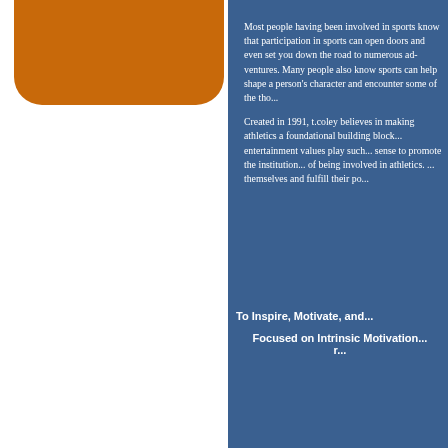[Figure (illustration): Orange rounded rectangle shape on white background, serving as decorative graphic element]
Most people having been involved in sports know that participation in sports can open doors and even set you down the road to numerous adventures. Many people also know sports can help shape a person's character and encounter some of the tho...
Created in 1991, t.coley believes in making athletics a foundational building block... entertainment values play such... sense to promote the institution... of being involved in athletics. ... themselves and fulfill their po...
To Inspire, Motivate, an...
Focused on Intrinsic Moti... r...